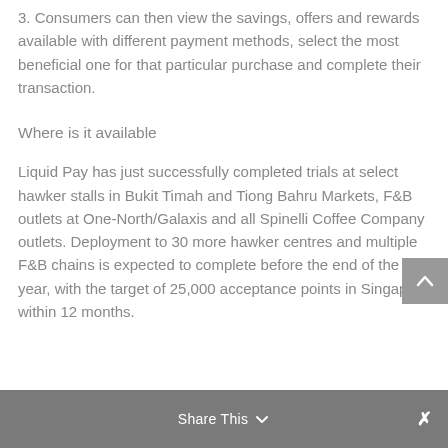3. Consumers can then view the savings, offers and rewards available with different payment methods, select the most beneficial one for that particular purchase and complete their transaction.
Where is it available
Liquid Pay has just successfully completed trials at select hawker stalls in Bukit Timah and Tiong Bahru Markets, F&B outlets at One-North/Galaxis and all Spinelli Coffee Company outlets. Deployment to 30 more hawker centres and multiple F&B chains is expected to complete before the end of the year, with the target of 25,000 acceptance points in Singapore within 12 months.